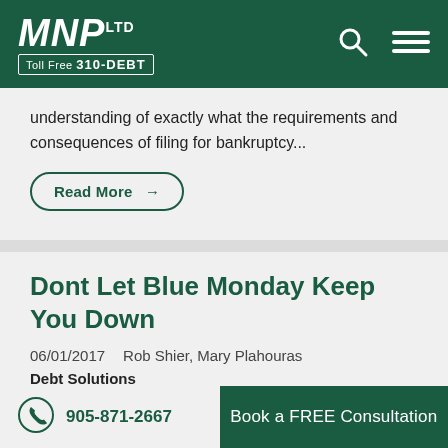MNP LTD — Toll Free 310-DEBT
understanding of exactly what the requirements and consequences of filing for bankruptcy...
Read More →
Dont Let Blue Monday Keep You Down
06/01/2017   Rob Shier, Mary Plahouras
Debt Solutions
905-871-2667   Book a FREE Consultation